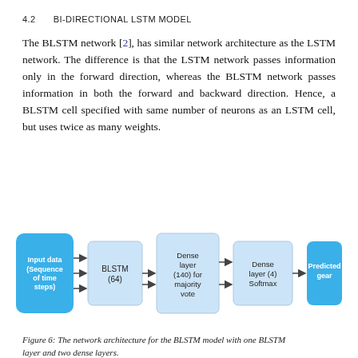4.2   BI-DIRECTIONAL LSTM MODEL
The BLSTM network [2], has similar network architecture as the LSTM network. The difference is that the LSTM network passes information only in the forward direction, whereas the BLSTM network passes information in both the forward and backward direction. Hence, a BLSTM cell specified with same number of neurons as an LSTM cell, but uses twice as many weights.
[Figure (flowchart): Network architecture diagram for BLSTM model showing: Input data (Sequence of time steps) -> BLSTM (64) -> Dense layer (140) for majority vote -> Dense layer (4) Softmax -> Predicted gear. Arrows connect each block left to right.]
Figure 6: The network architecture for the BLSTM model with one BLSTM layer and two dense layers.